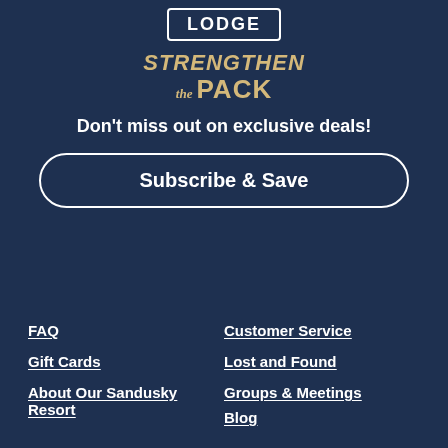[Figure (logo): LODGE logo in white text inside a white rounded rectangle border]
STRENGTHEN the PACK
Don't miss out on exclusive deals!
Subscribe & Save
FAQ
Customer Service
Gift Cards
Lost and Found
About Our Sandusky Resort
Groups & Meetings
Blog